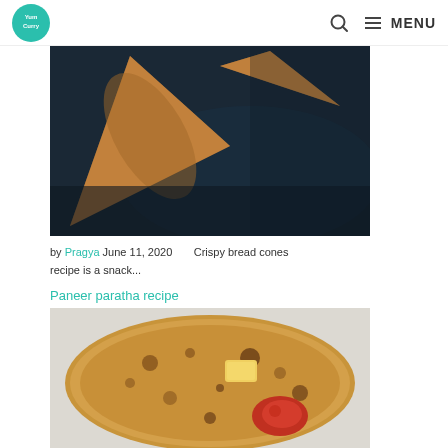Yum Curry — MENU
[Figure (photo): Close-up photo of crispy bread cones on a dark slate background]
by Pragya June 11, 2020    Crispy bread cones recipe is a snack...
Paneer paratha recipe
[Figure (photo): Close-up photo of paneer paratha with butter and red chutney on a light background]